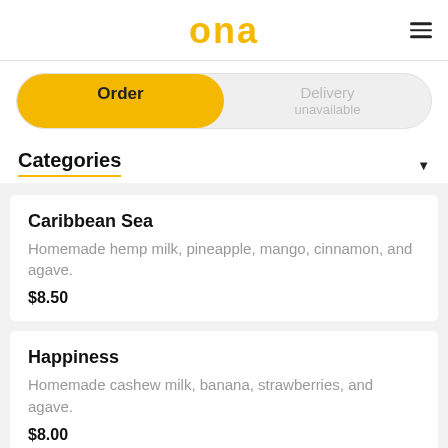[Figure (logo): Ona app logo in gold/yellow text]
Order | Delivery unavailable
Categories
Caribbean Sea
Homemade hemp milk, pineapple, mango, cinnamon, and agave.
$8.50
Happiness
Homemade cashew milk, banana, strawberries, and agave.
$8.00
Friendship